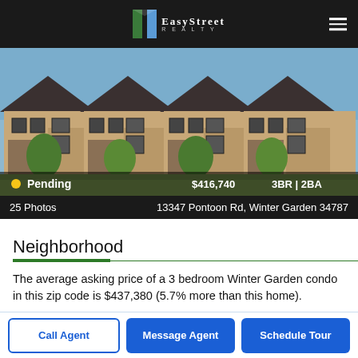EasyStreet Realty
[Figure (photo): Exterior photo of a row of tan/beige two-story townhomes with dark shutters and rooflines, green trees and landscaping in foreground]
Pending  $416,740  3BR | 2BA
25 Photos   13347 Pontoon Rd, Winter Garden 34787
Neighborhood
The average asking price of a 3 bedroom Winter Garden condo in this zip code is $437,380 (5.7% more than this home).
This condo is priced at $236/sqft, which is 6.8% less than similar condos in the 34787 zip code.